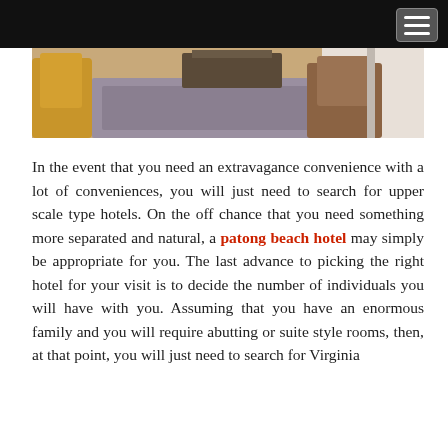[Figure (photo): Interior room photo showing chairs and a rug, partially visible at top of page]
In the event that you need an extravagance convenience with a lot of conveniences, you will just need to search for upper scale type hotels. On the off chance that you need something more separated and natural, a patong beach hotel may simply be appropriate for you. The last advance to picking the right hotel for your visit is to decide the number of individuals you will have with you. Assuming that you have an enormous family and you will require abutting or suite style rooms, then, at that point, you will just need to search for Virginia